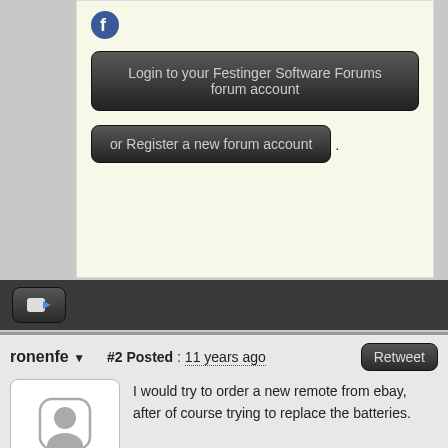Login to your Festinger Software Forums forum account
or Register a new forum account .
ronenfe
#2 Posted : 11 years ago
Retweet
[Figure (illustration): Default user avatar silhouette icon]
Rank: Administration
Groups: Administration
Joined: 11/22/2008(UTC)
Posts: 179
I would try to order a new remote from ebay, after of course trying to replace the batteries.